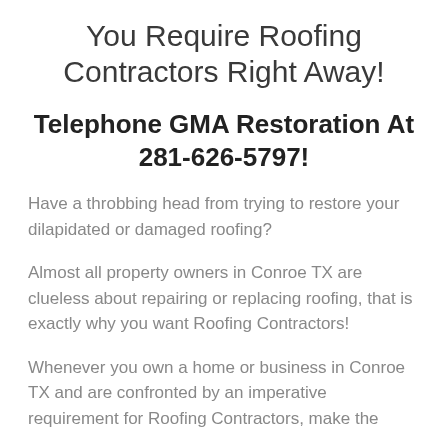You Require Roofing Contractors Right Away!
Telephone GMA Restoration At 281-626-5797!
Have a throbbing head from trying to restore your dilapidated or damaged roofing?
Almost all property owners in Conroe TX are clueless about repairing or replacing roofing, that is exactly why you want Roofing Contractors!
Whenever you own a home or business in Conroe TX and are confronted by an imperative requirement for Roofing Contractors, make the